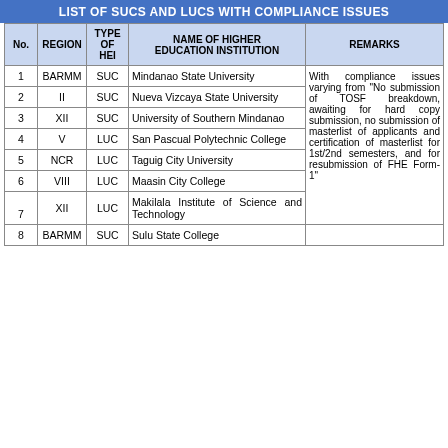LIST OF SUCS AND LUCS WITH COMPLIANCE ISSUES
| No. | REGION | TYPE OF HEI | NAME OF HIGHER EDUCATION INSTITUTION | REMARKS |
| --- | --- | --- | --- | --- |
| 1 | BARMM | SUC | Mindanao State University |  |
| 2 | II | SUC | Nueva Vizcaya State University |  |
| 3 | XII | SUC | University of Southern Mindanao | With compliance issues varying from "No submission of TOSF breakdown, awaiting for hard copy submission, no submission of masterlist of applicants and certification of masterlist for 1st/2nd semesters, and for resubmission of FHE Form-1" |
| 4 | V | LUC | San Pascual Polytechnic College |  |
| 5 | NCR | LUC | Taguig City University |  |
| 6 | VIII | LUC | Maasin City College |  |
| 7 | XII | LUC | Makilala Institute of Science and Technology |  |
| 8 | BARMM | SUC | Sulu State College |  |